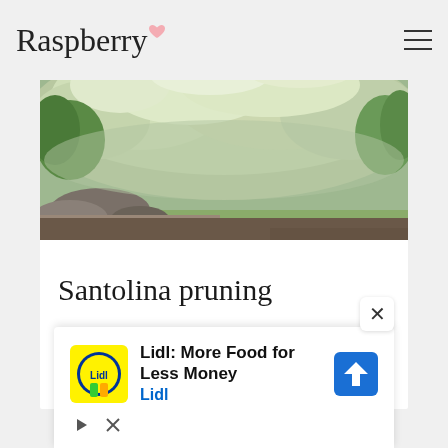Raspberry
[Figure (photo): Silvery-green Santolina shrub with dense, feathery foliage growing among rocks in a garden setting]
Santolina pruning
At the end of summer, when flowering is over, they cut two-thirds of the length of the stems. This is done so that the bush does not begin to
[Figure (other): Lidl advertisement banner: 'Lidl: More Food for Less Money' with Lidl logo and navigation arrow icon]